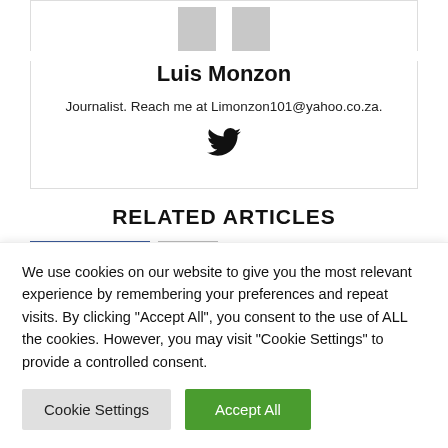[Figure (illustration): Two grey avatar/person placeholder icons side by side at the top of the author card]
Luis Monzon
Journalist. Reach me at Limonzon101@yahoo.co.za.
[Figure (illustration): Twitter bird icon]
RELATED ARTICLES
We use cookies on our website to give you the most relevant experience by remembering your preferences and repeat visits. By clicking "Accept All", you consent to the use of ALL the cookies. However, you may visit "Cookie Settings" to provide a controlled consent.